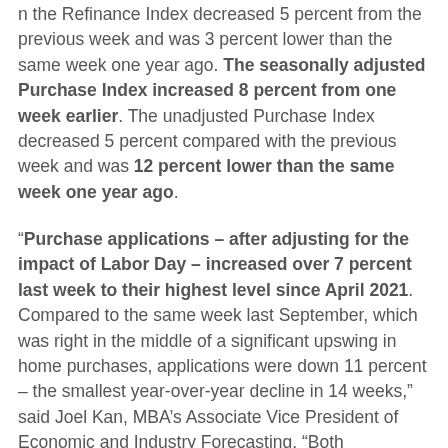n the Refinance Index decreased 5 percent from the previous week and was 3 percent lower than the same week one year ago. The seasonally adjusted Purchase Index increased 8 percent from one week earlier. The unadjusted Purchase Index decreased 5 percent compared with the previous week and was 12 percent lower than the same week one year ago.
“Purchase applications – after adjusting for the impact of Labor Day – increased over 7 percent last week to their highest level since April 2021. Compared to the same week last September, which was right in the middle of a significant upswing in home purchases, applications were down 11 percent – the smallest year-over-year decline in 14 weeks,” said Joel Kan, MBA’s Associate Vice President of Economic and Industry Forecasting. “Both conventional and government purchase applications increased, and the average loan size for a purchase application rose to $306,800. The